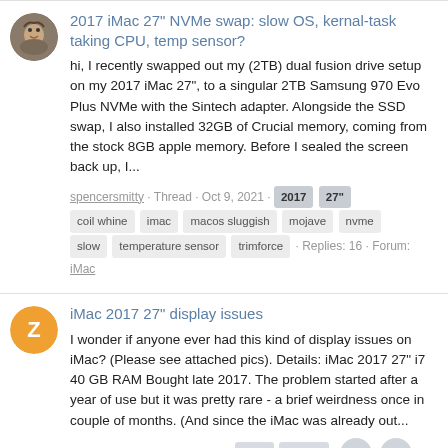2017 iMac 27" NVMe swap: slow OS, kernal-task taking CPU, temp sensor?
hi, I recently swapped out my (2TB) dual fusion drive setup on my 2017 iMac 27", to a singular 2TB Samsung 970 Evo Plus NVMe with the Sintech adapter. Alongside the SSD swap, I also installed 32GB of Crucial memory, coming from the stock 8GB apple memory. Before I sealed the screen back up, I...
spencersmitty · Thread · Oct 9, 2021 · 2017 27" coil whine imac macos sluggish mojave nvme slow temperature sensor trimforce · Replies: 16 · Forum: iMac
iMac 2017 27" display issues
I wonder if anyone ever had this kind of display issues on iMac? (Please see attached pics). Details: iMac 2017 27" i7 40 GB RAM Bought late 2017. The problem started after a year of use but it was pretty rare - a brief weirdness once in couple of months. (And since the iMac was already out...
zevrix · Thread · Jul 22, 2021 · 2017 display Replies: 6 · Forum: iMac